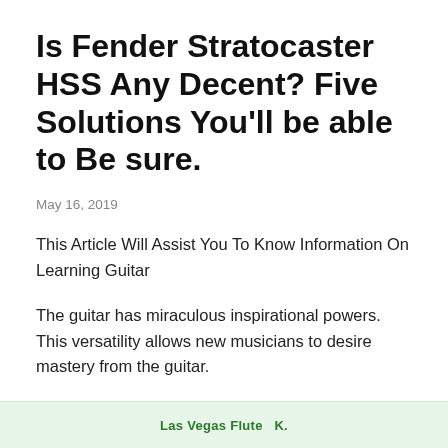Is Fender Stratocaster HSS Any Decent? Five Solutions You'll be able to Be sure.
May 16, 2019
This Article Will Assist You To Know Information On Learning Guitar
The guitar has miraculous inspirational powers. This versatility allows new musicians to desire mastery from the guitar.
[Figure (other): Partial advertisement banner showing 'Las Vegas Flute' text with green background]